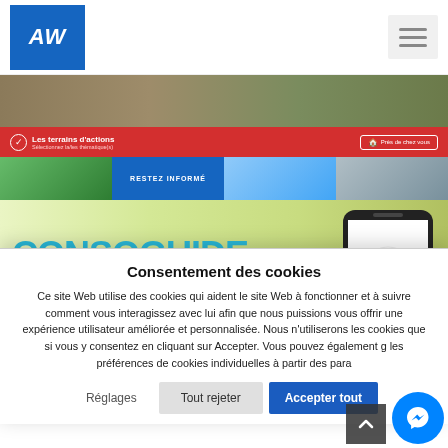AW logo and hamburger menu
[Figure (screenshot): Website navigation strip with red bar showing 'Les terrains d'actions' and thumbnail images, followed by CONSOGUIDE POISSONS banner with phone image]
Consentement des cookies
Ce site Web utilise des cookies qui aident le site Web à fonctionner et à suivre comment vous interagissez avec lui afin que nous puissions vous offrir une expérience utilisateur améliorée et personnalisée. Nous n'utiliserons les cookies que si vous y consentez en cliquant sur Accepter. Vous pouvez également g les préférences de cookies individuelles à partir des para
Réglages
Tout rejeter
Accepter tout